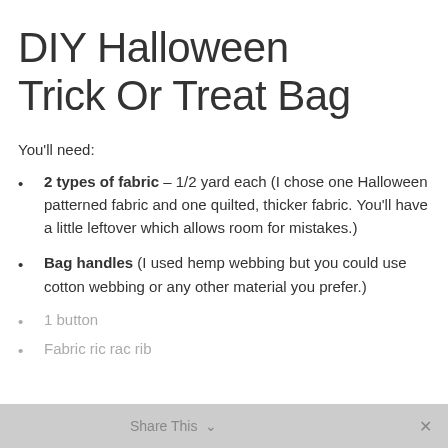DIY Halloween Trick Or Treat Bag
You'll need:
2 types of fabric – 1/2 yard each (I chose one Halloween patterned fabric and one quilted, thicker fabric. You'll have a little leftover which allows room for mistakes.)
Bag handles (I used hemp webbing but you could use cotton webbing or any other material you prefer.)
1 button
Fabric ric rac rib
Share This ∨  ✕